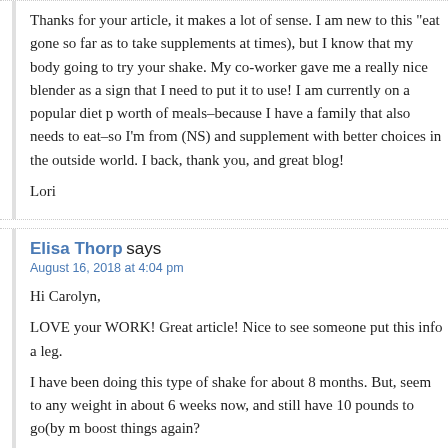Thanks for your article, it makes a lot of sense. I am new to this "eat gone so far as to take supplements at times), but I know that my body going to try your shake. My co-worker gave me a really nice blender as a sign that I need to put it to use! I am currently on a popular diet p worth of meals–because I have a family that also needs to eat–so I'm from (NS) and supplement with better choices in the outside world. I back, thank you, and great blog!

Lori
Elisa Thorp says
August 16, 2018 at 4:04 pm

Hi Carolyn,
LOVE your WORK! Great article! Nice to see someone put this info a leg.

I have been doing this type of shake for about 8 months. But, seem to any weight in about 6 weeks now, and still have 10 pounds to go(by m boost things again?